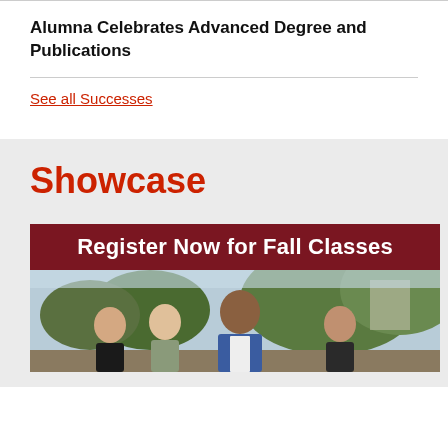Alumna Celebrates Advanced Degree and Publications
See all Successes
Showcase
[Figure (photo): Banner with dark red background reading 'Register Now for Fall Classes' above a photo of diverse students and a man in a blue blazer talking outdoors near trees.]